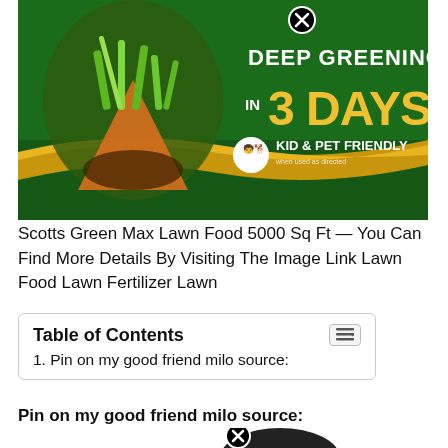[Figure (photo): Scotts Green Max Lawn Food bag with green background, grass image, gold accent stripe, text reading 'DEEP GREENING IN 3 DAYS' and 'KID & PET FRIENDLY', with a close/X button in upper area]
Scotts Green Max Lawn Food 5000 Sq Ft — You Can Find More Details By Visiting The Image Link Lawn Food Lawn Fertilizer Lawn
| Table of Contents |  |
| 1. Pin on my good friend milo source: |  |
Pin on my good friend milo source:
[Figure (photo): Product image (partially visible) with close/X button overlay, dark circular object at bottom right]